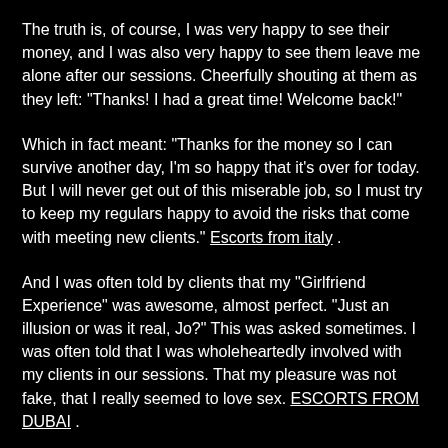The truth is, of course, I was very happy to see their money, and I was also very happy to see them leave me alone after our sessions. Cheerfully shouting at them as they left: "Thanks! I had a great time! Welcome back!"
Which in fact meant: "Thanks for the money so I can survive another day, I'm so happy that it's over for today. But I will never get out of this miserable job, so I must try to keep my regulars happy to avoid the risks that come with meeting new clients." Escorts from italy .
And I was often told by clients that my "Girlfriend Experience" was awesome, almost perfect. "Just an illusion or was it real, Jo?" This was asked sometimes. I was often told that I was wholeheartedly involved with my clients in our sessions. That my pleasure was not fake, that I really seemed to love sex. ESCORTS FROM DUBAI .
What sex? I have no memories of the sex part at all, they are all supressed under the well-practiced performance. The performance that helped me survive in this world since I